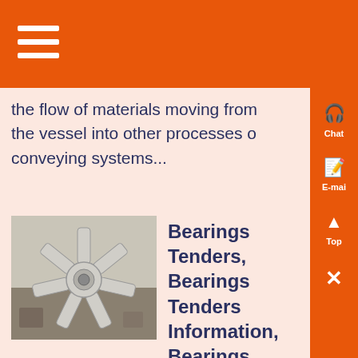the flow of materials moving from the vessel into other processes or conveying systems...
[Figure (photo): Industrial machine part, appears to be a large cast iron star/sprocket gear component on a workshop floor]
Bearings Tenders, Bearings Tenders Information, Bearings
Know More
Dec 09, 2021 0183 32
procurement of grinding rollers and bullring segments for coal mill zgm